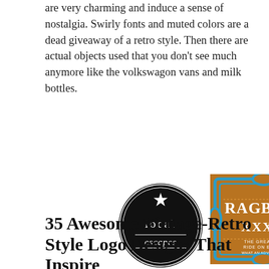are very charming and induce a sense of nostalgia. Swirly fonts and muted colors are a dead giveaway of a retro style. Then there are actual objects used that you don't see much anymore like the volkswagon vans and milk bottles.
[Figure (logo): Circular black badge logo with a star at top, 'local' in white lowercase letters in the center, and 'escapes' in white script/cursive font below, with a thin circular border.]
[Figure (logo): Rectangular brown/amber background logo with a blue ornate decorative frame/border. Text reads 'RAGBRAI XXXII' in large white letters, with smaller text below reading 'THE GREATEST RIDE ON EARTH' and additional smaller text.]
35 Awesome Vintage-Retro Style Logo Designs That Inspire